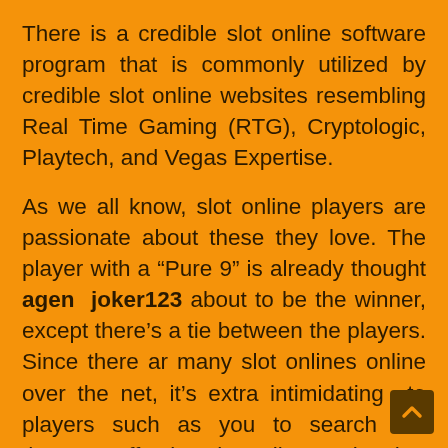There is a credible slot online software program that is commonly utilized by credible slot online websites resembling Real Time Gaming (RTG), Cryptologic, Playtech, and Vegas Expertise.
As we all know, slot online players are passionate about these they love. The player with a “Pure 9” is already thought agen joker123 about to be the winner, except there’s a tie between the players. Since there ar many slot onlines online over the net, it’s extra intimidating to players such as you to search out the most effective slot online to play that will suit your style and abilities in gaming. Beneath